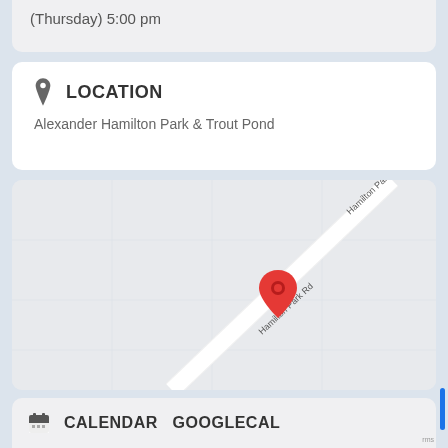(Thursday) 5:00 pm
LOCATION
Alexander Hamilton Park & Trout Pond
[Figure (map): Google Maps view showing Hamilton Park Rd diagonal road with a red location pin marker]
CALENDAR  GOOGLECAL